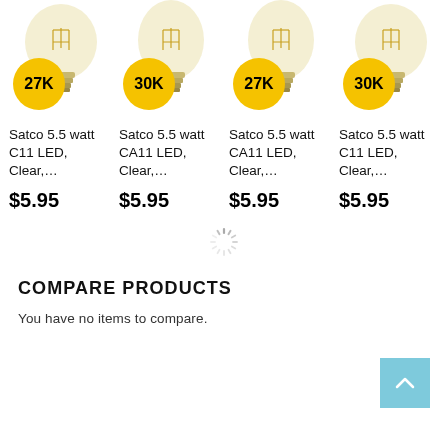[Figure (other): Product grid showing 4 LED light bulbs with color temperature badges and prices. Product 1: 27K badge, Satco 5.5 watt C11 LED, Clear,..., $5.95. Product 2: 30K badge, Satco 5.5 watt CA11 LED, Clear,..., $5.95. Product 3: 27K badge, Satco 5.5 watt CA11 LED, Clear,..., $5.95. Product 4: 30K badge, Satco 5.5 watt C11 LED, Clear,..., $5.95.]
[Figure (other): Loading spinner icon centered on page]
COMPARE PRODUCTS
You have no items to compare.